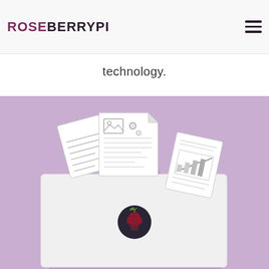ROSEBERRYPI
technology.
[Figure (illustration): Illustration of an open white folder/envelope on a purple background with a triangular shadow. Three documents stick out of the top: a text document on the left, a center document with an image placeholder and gear icons, and a right document with a bar/line chart. The folder has a dark circular seal in the center with a red raspberry/rose logo.]